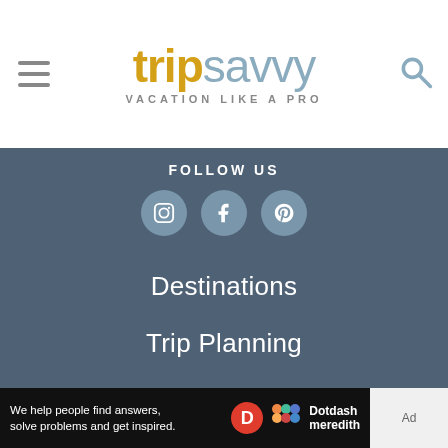[Figure (logo): TripSavvy logo with 'trip' in gold/yellow and 'savvy' in steel blue, subtitle 'VACATION LIKE A PRO' in grey spaced caps]
FOLLOW US
[Figure (infographic): Three circular social media icons: Instagram, Facebook, Pinterest on blue-grey background]
Destinations
Trip Planning
Inspiration
Outdoors
News
We help people find answers, solve problems and get inspired. Dotdash meredith